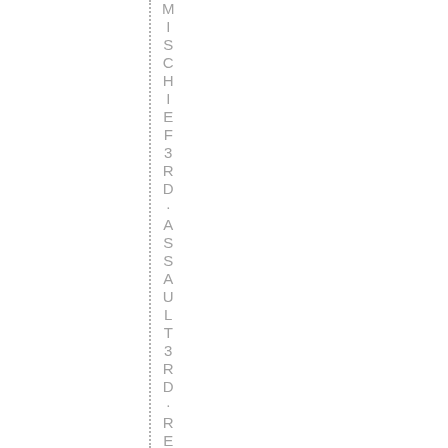[Figure (other): Vertical dotted line on left side with vertically stacked letters reading MISCHIEF 3RD · ASSAULT 3RD · RESISTING AR (continues off page)]